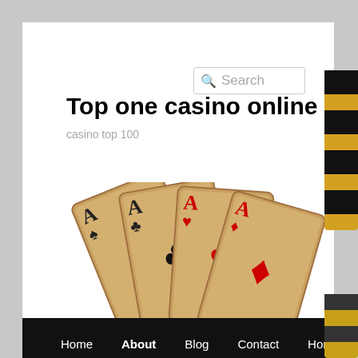Search
Top one casino online
casino top 100
[Figure (illustration): Four golden playing cards fanned out showing Ace of Spades, Ace of Clubs, Ace of Hearts, and Ace of Diamonds with large card suit symbols visible]
Home  About  Blog  Contact  Home  Sample Page  Service